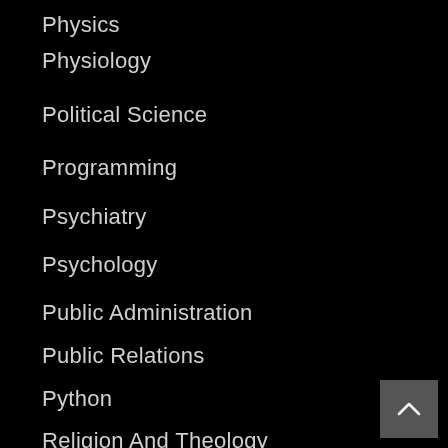Physics
Physiology
Political Science
Programming
Psychiatry
Psychology
Public Administration
Public Relations
Python
Religion And Theology
Scholarship Writing
Sex Education